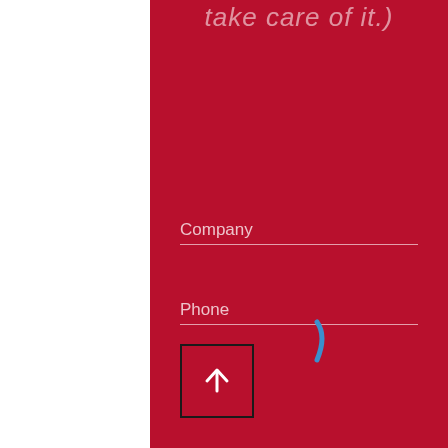take care of it.)
Company
Phone
[Figure (other): Blue spinner/loading arc symbol on red background]
[Figure (other): Back/up navigation button with upward arrow icon in dark border box]